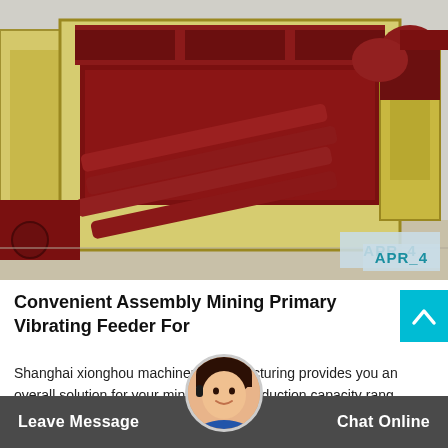[Figure (photo): Photo of large industrial vibrating feeder machine with yellow/cream frame and dark red components, including multiple diagonal red cylindrical bars, sitting in an outdoor yard.]
APR_4
Convenient Assembly Mining Primary Vibrating Feeder For
Shanghai xionghou machinery manufacturing provides you an overall solution for your min... with a production capacity range... 300th co... rushing ar... an...
Leave Message   Chat Online